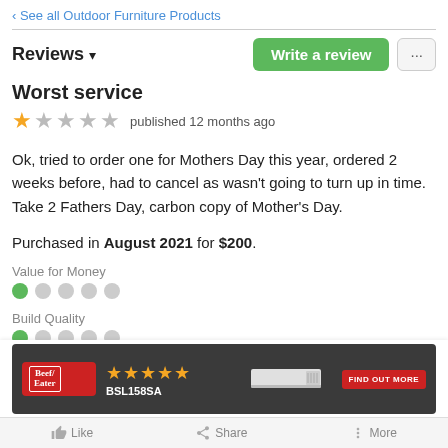‹ See all Outdoor Furniture Products
Reviews ▾
Worst service
★☆☆☆☆ published 12 months ago
Ok, tried to order one for Mothers Day this year, ordered 2 weeks before, had to cancel as wasn't going to turn up in time.
Take 2 Fathers Day, carbon copy of Mother's Day.
Purchased in August 2021 for $200.
Value for Money
● ○ ○ ○ ○
Build Quality
● ○ ○ ○ ○
[Figure (infographic): BeefEater BBQ advertisement banner with logo, 4 gold stars, model BSL158SA, product image, and FIND OUT MORE button]
Like   Share   More